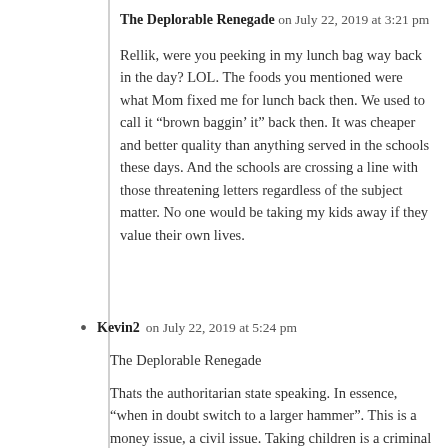The Deplorable Renegade on July 22, 2019 at 3:21 pm
Rellik, were you peeking in my lunch bag way back in the day? LOL. The foods you mentioned were what Mom fixed me for lunch back then. We used to call it “brown baggin’ it” back then. It was cheaper and better quality than anything served in the schools these days. And the schools are crossing a line with those threatening letters regardless of the subject matter. No one would be taking my kids away if they value their own lives.
Kevin2 on July 22, 2019 at 5:24 pm
The Deplorable Renegade
Thats the authoritarian state speaking. In essence, “when in doubt switch to a larger hammer”. This is a money issue, a civil issue. Taking children is a criminal issue that ultimately is backed up by the use of state approved violence. Put a charge on